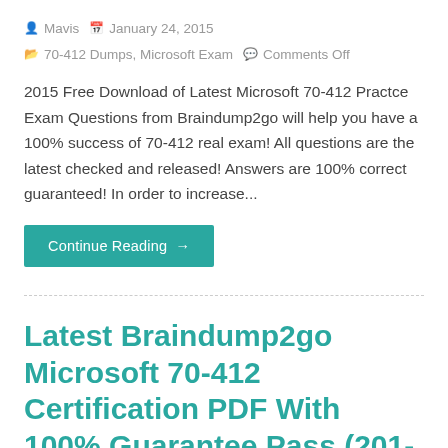Mavis  January 24, 2015  70-412 Dumps, Microsoft Exam  Comments Off
2015 Free Download of Latest Microsoft 70-412 Practce Exam Questions from Braindump2go will help you have a 100% success of 70-412 real exam! All questions are the latest checked and released! Answers are 100% correct guaranteed! In order to increase...
Continue Reading →
Latest Braindump2go Microsoft 70-412 Certification PDF With 100% Guarantee Pass (201-210)